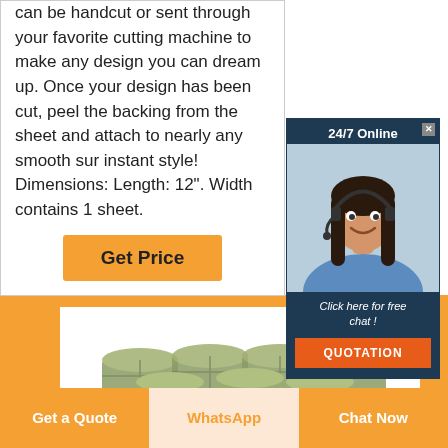can be handcut or sent through your favorite cutting machine to make any design you can dream up. Once your design has been cut, peel the backing from the sheet and attach to nearly any smooth sur instant style! Dimensions: Length: 12". Width contains 1 sheet.
Get Price
[Figure (photo): Chat popup with woman wearing headset, '24/7 Online' header, 'Click here for free chat!' text, and orange QUOTATION button]
[Figure (photo): Orange background section showing stacked money/cash bundles in a white frame]
Get a Quote
WhatsApp
Chat Now